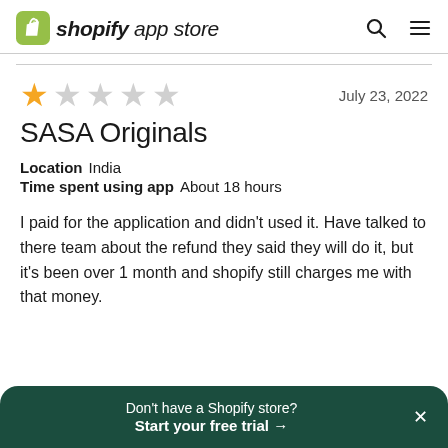shopify app store
★☆☆☆☆   July 23, 2022
SASA Originals
Location  India
Time spent using app  About 18 hours
I paid for the application and didn't used it. Have talked to there team about the refund they said they will do it, but it's been over 1 month and shopify still charges me with that money.
Don't have a Shopify store? Start your free trial →